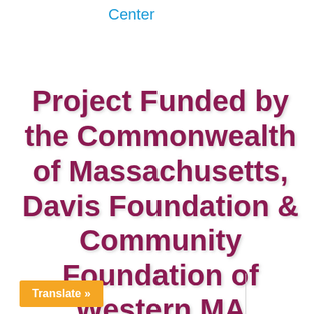Center
Project Funded by the Commonwealth of Massachusetts, Davis Foundation & Community Foundation of Western MA
Translate »